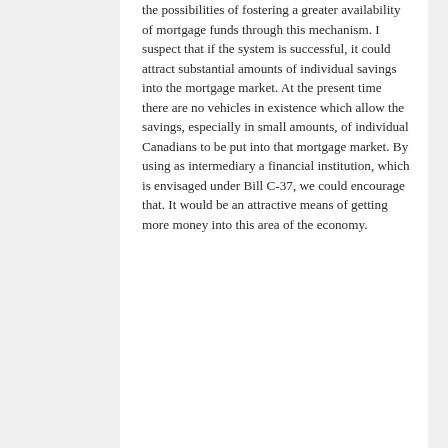the possibilities of fostering a greater availability of mortgage funds through this mechanism. I suspect that if the system is successful, it could attract substantial amounts of individual savings into the mortgage market. At the present time there are no vehicles in existence which allow the savings, especially in small amounts, of individual Canadians to be put into that mortgage market. By using as intermediary a financial institution, which is envisaged under Bill C-37, we could encourage that. It would be an attractive means of getting more money into this area of the economy.